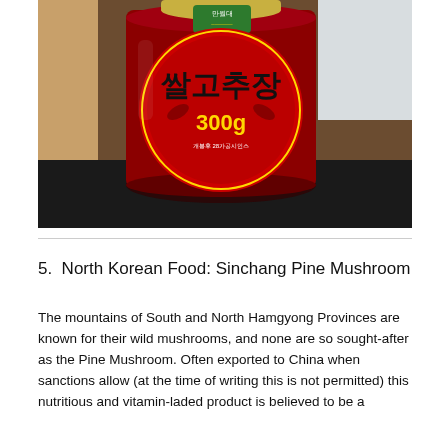[Figure (photo): A red jar/bottle of Korean gochujang (쌀고추장) labeled 300g with Korean text and a green brand label at the top reading 만월대, shown on a dark surface]
5.  North Korean Food: Sinchang Pine Mushroom
The mountains of South and North Hamgyong Provinces are known for their wild mushrooms, and none are so sought-after as the Pine Mushroom. Often exported to China when sanctions allow (at the time of writing this is not permitted) this nutritious and vitamin-laded product is believed to be a